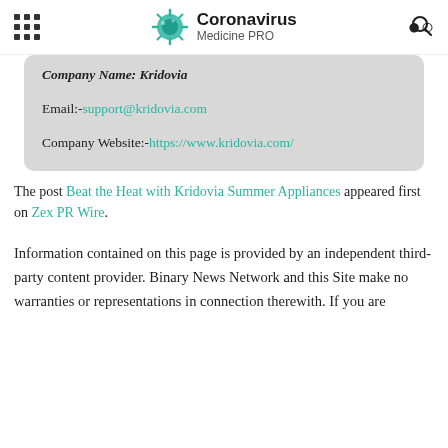Coronavirus Medicine PRO
Company Name: Kridovia
Email:- support@kridovia.com
Company Website:- https://www.kridovia.com/
The post Beat the Heat with Kridovia Summer Appliances appeared first on Zex PR Wire.
Information contained on this page is provided by an independent third-party content provider. Binary News Network and this Site make no warranties or representations in connection therewith. If you are